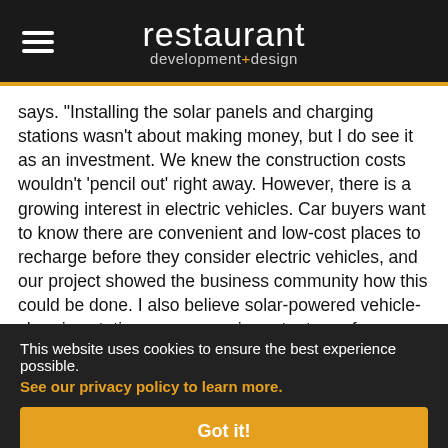restaurant development+design
says. "Installing the solar panels and charging stations wasn't about making money, but I do see it as an investment. We knew the construction costs wouldn't 'pencil out' right away. However, there is a growing interest in electric vehicles. Car buyers want to know there are convenient and low-cost places to recharge before they consider electric vehicles, and our project showed the business community how this could be done. I also believe solar-powered vehicle-charging stations are a very important way for America to become energy independent."
This website uses cookies to ensure the best experience possible. See our privacy policy to learn more.
Got it!